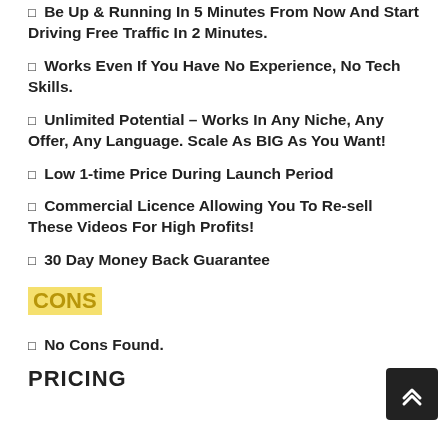✓ Be Up & Running In 5 Minutes From Now And Start Driving Free Traffic In 2 Minutes.
✓ Works Even If You Have No Experience, No Tech Skills.
✓ Unlimited Potential – Works In Any Niche, Any Offer, Any Language. Scale As BIG As You Want!
✓ Low 1-time Price During Launch Period
✓ Commercial Licence Allowing You To Re-sell These Videos For High Profits!
✓ 30 Day Money Back Guarantee
CONS
✓ No Cons Found.
PRICING